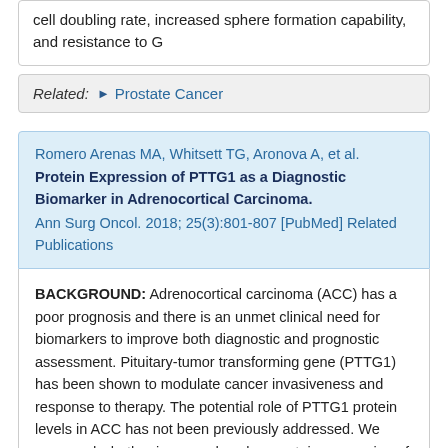cell doubling rate, increased sphere formation capability, and resistance to G
Related: ▶ Prostate Cancer
Romero Arenas MA, Whitsett TG, Aronova A, et al. Protein Expression of PTTG1 as a Diagnostic Biomarker in Adrenocortical Carcinoma. Ann Surg Oncol. 2018; 25(3):801-807 [PubMed] Related Publications
BACKGROUND: Adrenocortical carcinoma (ACC) has a poor prognosis and there is an unmet clinical need for biomarkers to improve both diagnostic and prognostic assessment. Pituitary-tumor transforming gene (PTTG1) has been shown to modulate cancer invasiveness and response to therapy. The potential role of PTTG1 protein levels in ACC has not been previously addressed. We assessed whether increased nuclear protein expression of PTTG1 distinguished ACCs from adrenocortical